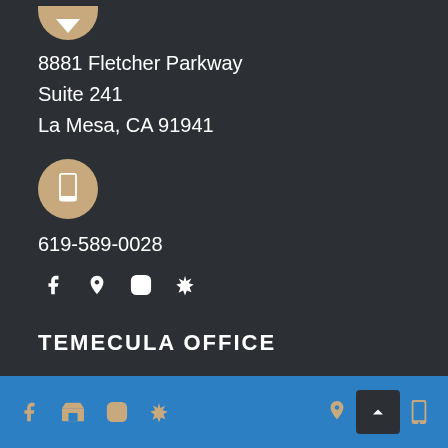[Figure (illustration): Partial tan/gold circle icon with downward chevron/arrow at top of page]
8881 Fletcher Parkway
Suite 241
La Mesa, CA 91941
[Figure (illustration): Tan/gold circle icon with smartphone/tablet symbol]
619-589-0028
[Figure (illustration): Social media icons row: Facebook, Google Maps pin, Instagram, Yelp]
TEMECULA OFFICE
[Figure (illustration): Tan/gold circle icon with map pin/location symbol]
Footer bar with social icons: Facebook, Google Business, Instagram, Yelp on left; map pin, phone, back-to-top button on right